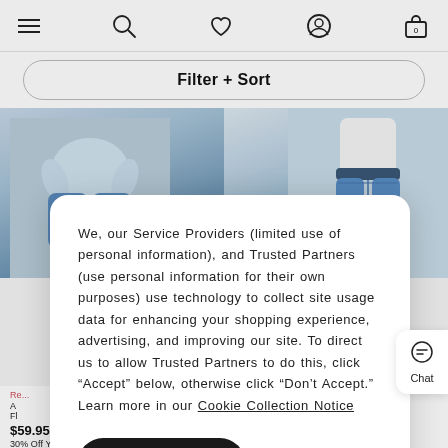Navigation bar with menu, search, wishlist, account, and cart (0) icons
Filter + Sort
[Figure (photo): Two product photos side by side showing women wearing blue distressed jeans. Left: seated woman in light blue distressed jeans. Right: standing woman in medium-wash high-waisted jeans.]
We, our Service Providers (limited use of personal information), and Trusted Partners (use personal information for their own purposes) use technology to collect site usage data for enhancing your shopping experience, advertising, and improving our site. To direct us to allow Trusted Partners to do this, click “Accept” below, otherwise click “Don’t Accept.” Learn more in our Cookie Collection Notice
Accept
Don't Accept
Chat
Re
A
Fl
$59.95
30% Off Your Purchase When You
- Waisted
$59.95
30% Off Your Purchase When You